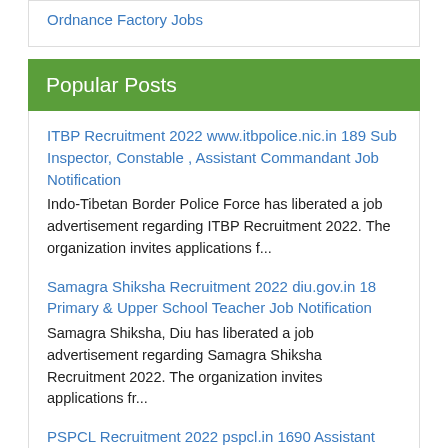Ordnance Factory Jobs
Popular Posts
ITBP Recruitment 2022 www.itbpolice.nic.in 189 Sub Inspector, Constable , Assistant Commandant Job Notification
Indo-Tibetan Border Police Force has liberated a job advertisement regarding ITBP Recruitment 2022. The organization invites applications f...
Samagra Shiksha Recruitment 2022 diu.gov.in 18 Primary & Upper School Teacher Job Notification
Samagra Shiksha, Diu has liberated a job advertisement regarding Samagra Shiksha Recruitment 2022. The organization invites applications fr...
PSPCL Recruitment 2022 pspcl.in 1690 Assistant Lineman Job Notification
Punjab State Power Corporation Limited has liberated a job advertisement regarding PSPCL Recruitment 2022. The organization invites applica...